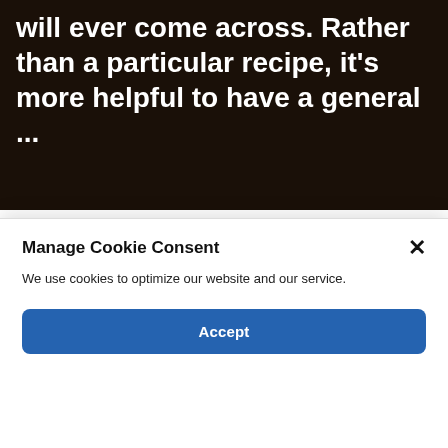[Figure (photo): Dark background photo of hands/food with white text overlay reading: 'will ever come across. Rather than a particular recipe, it’s more helpful to have a general ...']
6 Best Spiritual Books of 2022
BY CONTRIBUTING AUTHOR / ⏰ AUGUST 6, 2022
The Complete Guide to Throwing an Unforgettable
Manage Cookie Consent
We use cookies to optimize our website and our service.
Accept